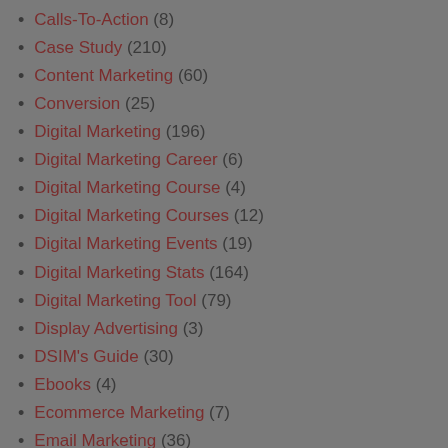Calls-To-Action (8)
Case Study (210)
Content Marketing (60)
Conversion (25)
Digital Marketing (196)
Digital Marketing Career (6)
Digital Marketing Course (4)
Digital Marketing Courses (12)
Digital Marketing Events (19)
Digital Marketing Stats (164)
Digital Marketing Tool (79)
Display Advertising (3)
DSIM's Guide (30)
Ebooks (4)
Ecommerce Marketing (7)
Email Marketing (36)
Guest Post (149)
Happy Faces (27)
How To (5)
Humor (43)